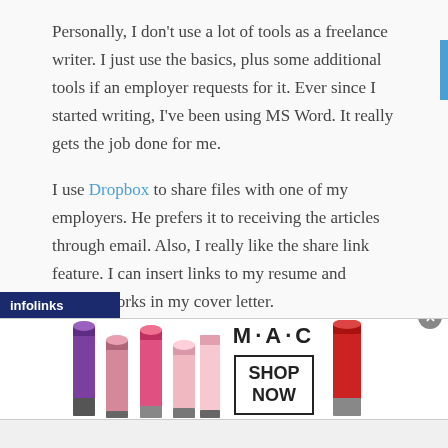Personally, I don't use a lot of tools as a freelance writer. I just use the basics, plus some additional tools if an employer requests for it. Ever since I started writing, I've been using MS Word. It really gets the job done for me.
I use Dropbox to share files with one of my employers. He prefers it to receiving the articles through email. Also, I really like the share link feature. I can insert links to my resume and sample works in my cover letter.
[Figure (screenshot): Infolinks ad banner with MAC cosmetics advertisement showing lipstick tubes and a SHOP NOW button]